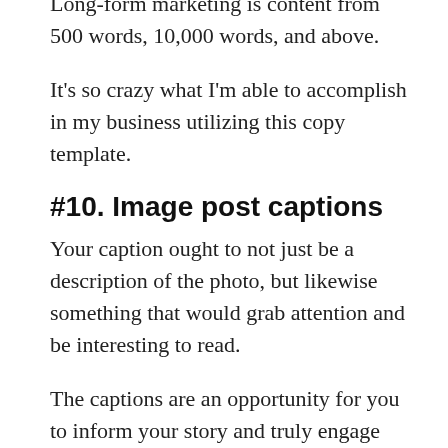Long-form marketing is content from 500 words, 10,000 words, and above.
It's so crazy what I'm able to accomplish in my business utilizing this copy template.
#10. Image post captions
Your caption ought to not just be a description of the photo, but likewise something that would grab attention and be interesting to read.
The captions are an opportunity for you to inform your story and truly engage followers with what's going on in your life today.
It can function as a method for people who don't